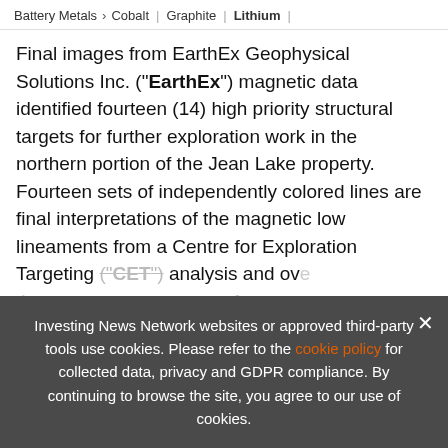Battery Metals > Cobalt | Graphite | Lithium |
Final images from EarthEx Geophysical Solutions Inc. ("EarthEx") magnetic data identified fourteen (14) high priority structural targets for further exploration work in the northern portion of the Jean Lake property. Fourteen sets of independently colored lines are final interpretations of the magnetic low lineaments from a Centre for Exploration Targeting ("CET") analysis and ove...
[Figure (infographic): 2022 Base Metals Outlook Report advertisement banner: '2022 BASE METALS OUTLOOK REPORT. TRENDS. FORECASTS. TOP STOCKS.' with orange arrow button.]
Investing News Network websites or approved third-party tools use cookies. Please refer to the cookie policy for collected data, privacy and GDPR compliance. By continuing to browse the site, you agree to our use of cookies.